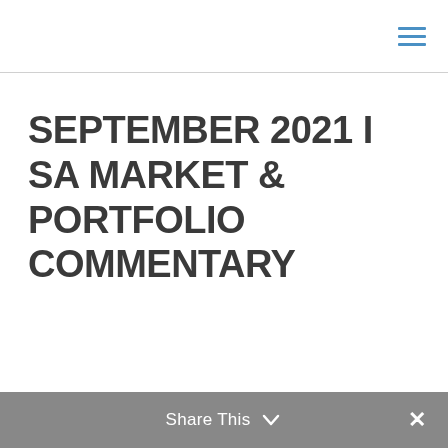SEPTEMBER 2021 I SA MARKET & PORTFOLIO COMMENTARY
Share This ✕